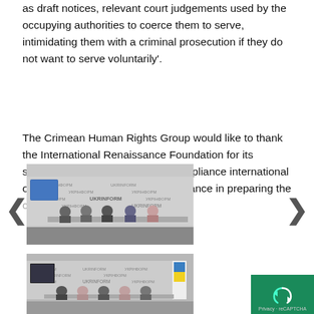as draft notices, relevant court judgements used by the occupying authorities to coerce them to serve, intimidating them with a criminal prosecution if they do not want to serve voluntarily'.
The Crimean Human Rights Group would like to thank the International Renaissance Foundation for its support and the Global Rights Compliance international organization for its expertise assistance in preparing the communication.
[Figure (photo): Press conference at Ukrinform news agency. Several people seated at a long table in front of a backdrop with the Ukrinform logo. A screen/monitor is visible on the left.]
[Figure (photo): Another press conference at Ukrinform. People seated at a table with a Ukrainian flag visible on the right side.]